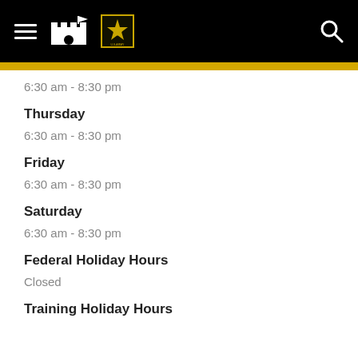U.S. Army installation hours page header with navigation
6:30 am - 8:30 pm
Thursday
6:30 am - 8:30 pm
Friday
6:30 am - 8:30 pm
Saturday
6:30 am - 8:30 pm
Federal Holiday Hours
Closed
Training Holiday Hours